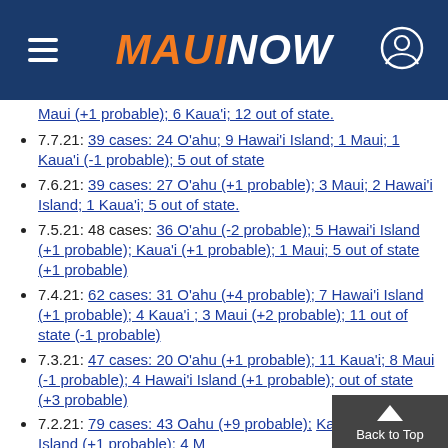MAUI NOW
Maui (+1 probable); 6 Kaua'i; 12 out of state. (partial/truncated top)
7.7.21: 39 cases: 24 O'ahu; 9 Hawai'i Island; 1 Maui; 1 Kaua'i (-1 probable); 5 out of state
7.6.21: 39 cases: 27 O'ahu (+1 probable); 3 Maui; 2 Hawai'i Island; 1 Kaua'i; 5 out of state.
7.5.21: 48 cases: 36 O'ahu (-2 probable); 5 Hawai'i Island (+1 probable); Kaua'i (+1 probable); 1 Maui; 5 out of state (+1 probable)
7.4.21: 62 cases: 31 O'ahu (+4 probable); 7 Hawai'i Island (+1 probable); 4 Kaua'i ; 3 Maui (+2 probable); 11 out of state (-1 probable)
7.3.21: 47 cases: 20 O'ahu (+1 probable); 11 Kaua'i; 8 Maui (-1 probable); 4 Hawai'i Island (+1 probable); out of state (+3 probable)
7.2.21: 79 cases: 43 Oahu (+9 probable); Kauai; 6 Hawaii Island (+1 probable); 4 Maui probable); 6 out of state (partial/truncated bottom)